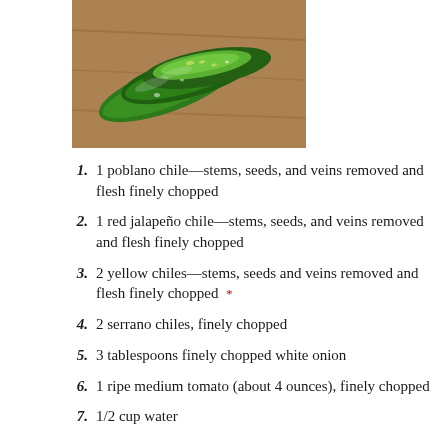[Figure (photo): Photo of sliced open green poblano chiles on a wooden cutting board, showing the interior flesh and seeds.]
1 poblano chile—stems, seeds, and veins removed and flesh finely chopped
1 red jalapeño chile—stems, seeds, and veins removed and flesh finely chopped
2 yellow chiles—stems, seeds and veins removed and flesh finely chopped *
2 serrano chiles, finely chopped
3 tablespoons finely chopped white onion
1 ripe medium tomato (about 4 ounces), finely chopped
1/2 cup water